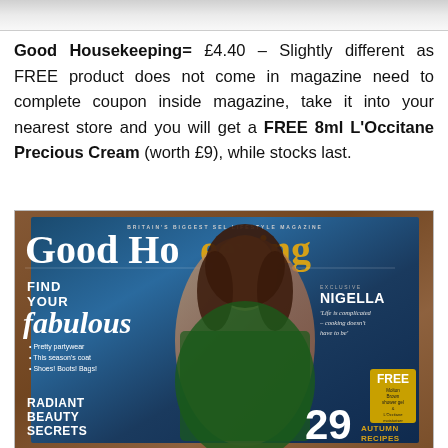[Figure (photo): Partial top edge of image strip at top of page]
Good Housekeeping= £4.40 – Slightly different as FREE product does not come in magazine need to complete coupon inside magazine, take it into your nearest store and you will get a FREE 8ml L'Occitane Precious Cream (worth £9), while stocks last.
[Figure (photo): Photo of Good Housekeeping magazine November issue on a wooden table. Cover shows Nigella Lawson in a green dress. Cover text includes: BRITAIN'S BIGGEST SELL LIFESTYLE MAGAZINE, Good Housekeeping, FIND YOUR fabulous, Pretty partywear, This season's coat, Shoes! Boots! Bags!, NIGELLA 'Life is complicated - cooking doesn't have to be', FREE, RADIANT BEAUTY SECRETS, 29 AUTUMN RECIPES]